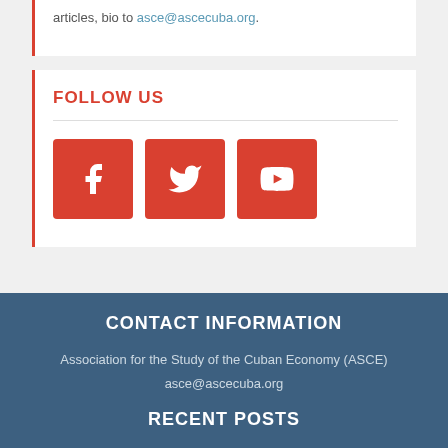articles, bio to asce@ascecuba.org.
FOLLOW US
[Figure (infographic): Three social media icon buttons (Facebook, Twitter, YouTube) with red/orange background]
CONTACT INFORMATION
Association for the Study of the Cuban Economy (ASCE)
asce@ascecuba.org
RECENT POSTS